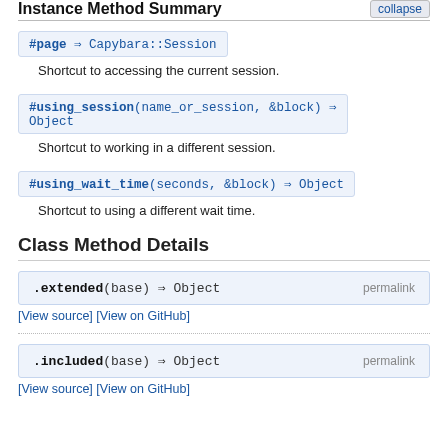Instance Method Summary  collapse
#page ⇒ Capybara::Session
Shortcut to accessing the current session.
#using_session(name_or_session, &block) ⇒ Object
Shortcut to working in a different session.
#using_wait_time(seconds, &block) ⇒ Object
Shortcut to using a different wait time.
Class Method Details
.extended(base) ⇒ Object   permalink
[View source] [View on GitHub]
.included(base) ⇒ Object   permalink
[View source] [View on GitHub]